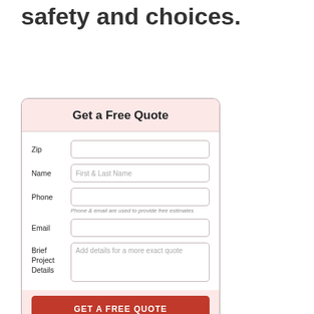safety and choices.
[Figure (other): Web form widget titled 'Get a Free Quote' with fields for Zip, Name (placeholder: First & Last Name), Phone (with note: Phone & email are used to provide free estimates), Email, Brief Project Details (placeholder: Add details for a more exact quote), and a submit button labeled GET A FREE QUOTE]